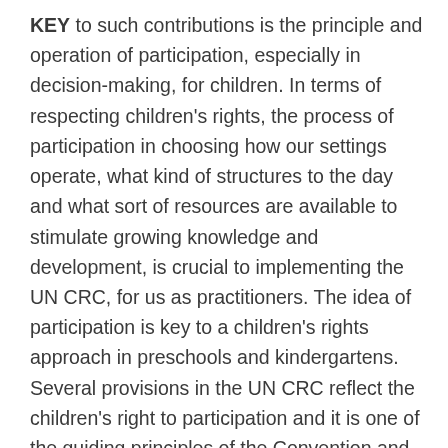KEY to such contributions is the principle and operation of participation, especially in decision-making, for children. In terms of respecting children's rights, the process of participation in choosing how our settings operate, what kind of structures to the day and what sort of resources are available to stimulate growing knowledge and development, is crucial to implementing the UN CRC, for us as practitioners. The idea of participation is key to a children's rights approach in preschools and kindergartens. Several provisions in the UN CRC reflect the children's right to participation and it is one of the guiding principles of the Convention and, arguably also one of the biggest challenges. Article 12 for example, states that children have the right to participate in decision-making processes that may be relevant to their lives and to influence decisions taken in their regard – within the family, the preschool or the community. The principle affirms that children are fully-fledged people who have the right to express their views in matters that affect them and that these views should be